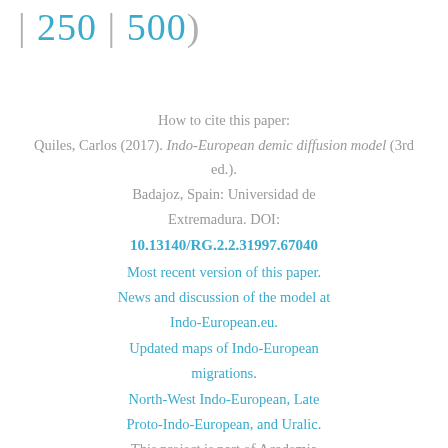| 250 | 500)
How to cite this paper:
Quiles, Carlos (2017). Indo-European demic diffusion model (3rd ed.). Badajoz, Spain: Universidad de Extremadura. DOI:
10.13140/RG.2.2.31997.67040
Most recent version of this paper.
News and discussion of the model at Indo-European.eu.
Updated maps of Indo-European migrations.
North-West Indo-European, Late Proto-Indo-European, and Uralic.
This project is part of Academia